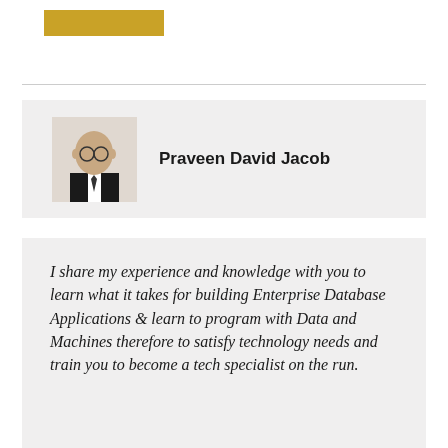[Figure (other): Gold/amber colored rectangular banner bar]
[Figure (photo): Author profile photo of Praveen David Jacob, a man wearing glasses and a dark suit with tie]
Praveen David Jacob
I share my experience and knowledge with you to learn what it takes for building Enterprise Database Applications & learn to program with Data and Machines therefore to satisfy technology needs and train you to become a tech specialist on the run.